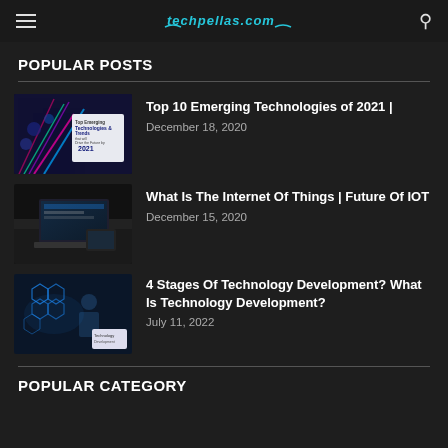techpellas.com
POPULAR POSTS
[Figure (screenshot): Thumbnail image for 'Top 10 Emerging Technologies of 2021' post]
Top 10 Emerging Technologies of 2021 |
December 18, 2020
[Figure (photo): Thumbnail image showing a laptop setup for 'What Is The Internet Of Things | Future Of IOT' post]
What Is The Internet Of Things | Future Of IOT
December 15, 2020
[Figure (photo): Thumbnail image for '4 Stages Of Technology Development? What Is Technology Development?' post]
4 Stages Of Technology Development? What Is Technology Development?
July 11, 2022
POPULAR CATEGORY